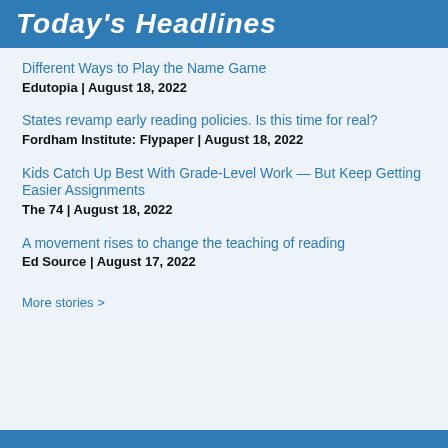Today's Headlines
Different Ways to Play the Name Game
Edutopia | August 18, 2022
States revamp early reading policies. Is this time for real?
Fordham Institute: Flypaper | August 18, 2022
Kids Catch Up Best With Grade-Level Work — But Keep Getting Easier Assignments
The 74 | August 18, 2022
A movement rises to change the teaching of reading
Ed Source | August 17, 2022
More stories >